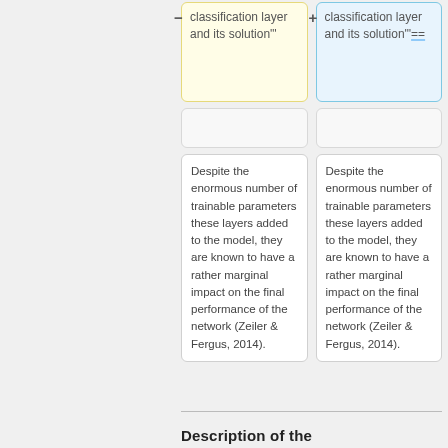— classification layer and its solution'"
+ classification layer and its solution'"==
Despite the enormous number of trainable parameters these layers added to the model, they are known to have a rather marginal impact on the final performance of the network (Zeiler & Fergus, 2014).
Despite the enormous number of trainable parameters these layers added to the model, they are known to have a rather marginal impact on the final performance of the network (Zeiler & Fergus, 2014).
Description of the